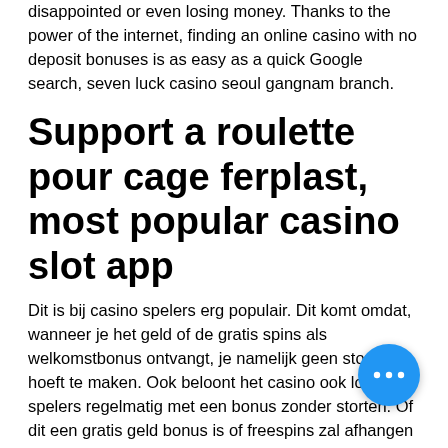disappointed or even losing money. Thanks to the power of the internet, finding an online casino with no deposit bonuses is as easy as a quick Google search, seven luck casino seoul gangnam branch.
Support a roulette pour cage ferplast, most popular casino slot app
Dit is bij casino spelers erg populair. Dit komt omdat, wanneer je het geld of de gratis spins als welkomstbonus ontvangt, je namelijk geen storting hoeft te maken. Ook beloont het casino ook loyale spelers regelmatig met een bonus zonder storten. Of dit een gratis geld bonus is of freespins zal afhangen van je eigen speelgedrag, niagara falls casino kenny rogers. Een casino bonus zonder storten kun je krijgen op verschillende manieren. This promotion is only applic… when you play on Club W, Super 98